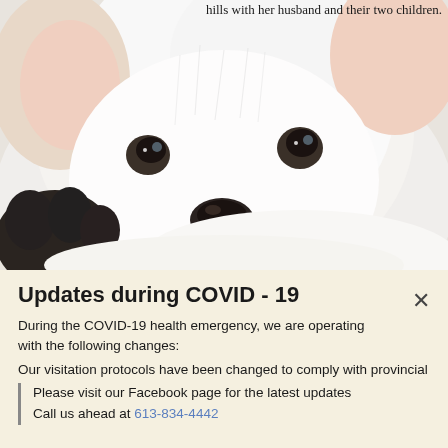hills with her husband and their two children.
[Figure (photo): Close-up photo of a white fluffy puppy with dark eyes and a black nose, with a dark paw visible at lower left.]
Updates during COVID - 19
During the COVID-19 health emergency, we are operating with the following changes:
Our visitation protocols have been changed to comply with provincial
Please visit our Facebook page for the latest updates
Call us ahead at 613-834-4442